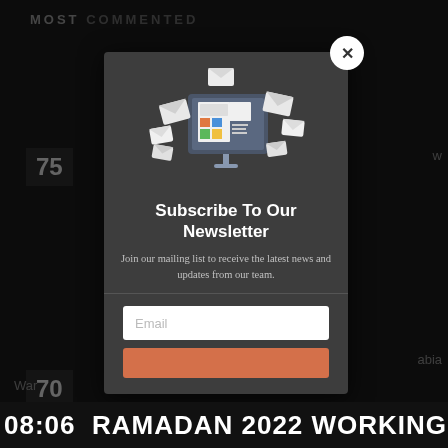MOST COMMENTED
[Figure (screenshot): Newsletter subscription modal popup overlay on a dark news website background. The modal features an illustration of a monitor with envelopes/newsletter graphic, title 'Subscribe To Our Newsletter', body text, email input field, and a salmon/orange submit button. A close (×) button appears in the top-right of the modal. Background shows partial news article list with numbers 75, 70, 49 and text fragments 'w', 'abia', '20', 'War'.]
Subscribe To Our Newsletter
Join our mailing list to receive the latest news and updates from our team.
08:06  RAMADAN 2022 WORKING